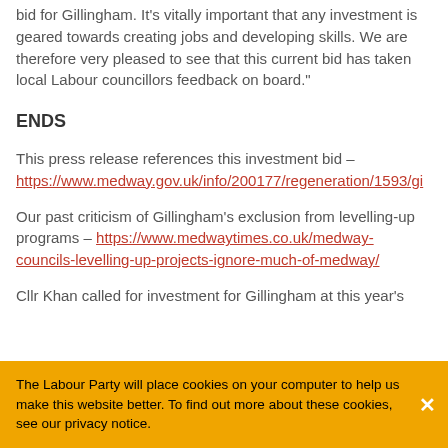bid for Gillingham. It's vitally important that any investment is geared towards creating jobs and developing skills. We are therefore very pleased to see that this current bid has taken local Labour councillors feedback on board."
ENDS
This press release references this investment bid – https://www.medway.gov.uk/info/200177/regeneration/1593/gi
Our past criticism of Gillingham's exclusion from levelling-up programs – https://www.medwaytimes.co.uk/medway-councils-levelling-up-projects-ignore-much-of-medway/
Cllr Khan called for investment for Gillingham at this year's
The Labour Party will place cookies on your computer to help us make this website better. To find out more about these cookies, see our privacy notice.